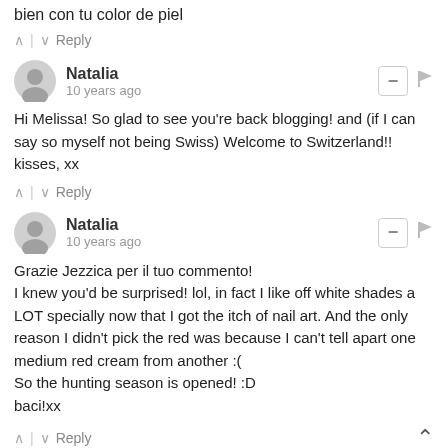bien con tu color de piel
^ | v  Reply
Natalia
10 years ago
Hi Melissa! So glad to see you're back blogging! and (if I can say so myself not being Swiss) Welcome to Switzerland!!
kisses, xx
^ | v  Reply
Natalia
10 years ago
Grazie Jezzica per il tuo commento!
I knew you'd be surprised! lol, in fact I like off white shades a LOT specially now that I got the itch of nail art. And the only reason I didn't pick the red was because I can't tell apart one medium red cream from another :(
So the hunting season is opened! :D
baci!xx
^ | v  Reply